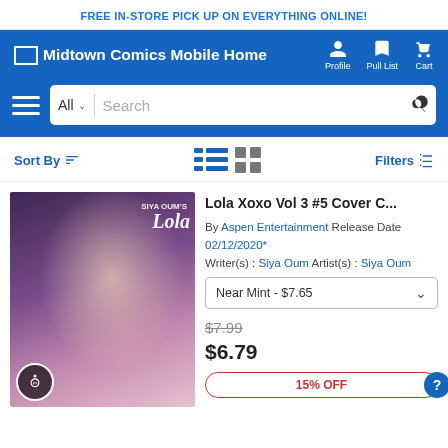FREE IN-STORE PICK UP ON EVERYTHING ONLINE!
[Figure (screenshot): Midtown Comics Mobile Home navigation bar with Profile, Pull List, and Cart icons]
[Figure (screenshot): Search bar with All category selector and search input]
Sort By | Filters
[Figure (photo): Lola Xoxo comic book cover showing a blonde woman in a pink jacket]
Lola Xoxo Vol 3 #5 Cover C...
By Aspen Entertainment Release Date 02/12/2020* Writer(s) : Siya Oum Artist(s) : Siya Oum
Near Mint - $7.65
$7.99
$6.79
15% OFF